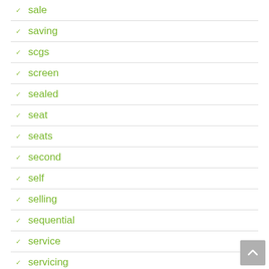sale
saving
scgs
screen
sealed
seat
seats
second
self
selling
sequential
service
servicing
sherlock